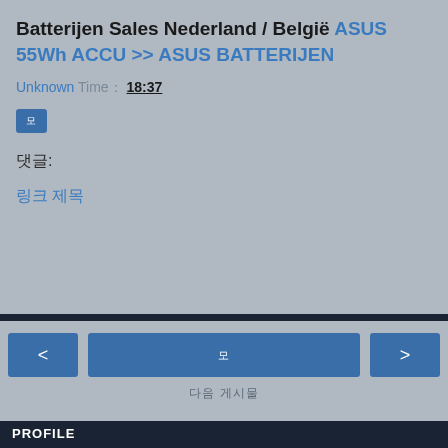Batterijen Sales Nederland / België ASUS 55Wh ACCU >> ASUS BATTERIJEN
Unknown Time： 18:37
댓글:
링크 제목
< [center button] > 다음 게시물
PROFILE
Janee
Unknown
© Blogger 소유입니다.